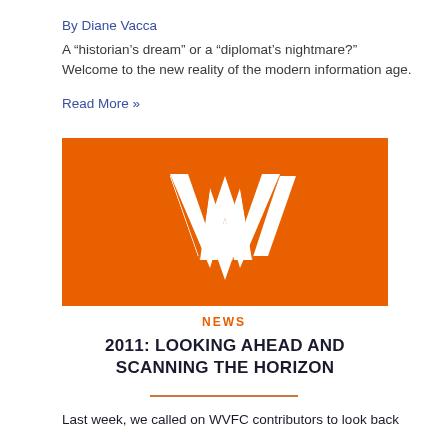By Diane Vacca
A “historian’s dream” or a “diplomat’s nightmare?” Welcome to the new reality of the modern information age.
Read More »
[Figure (logo): Orange rectangle with white stylized W logo mark in the center]
NEWS
2011: LOOKING AHEAD AND SCANNING THE HORIZON
Last week, we called on WVFC contributors to look back